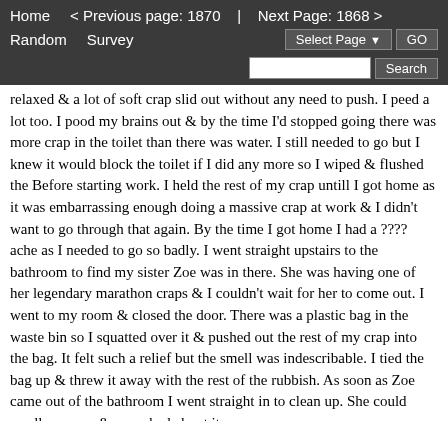Home   < Previous page: 1870  |  Next Page: 1868 >   Random   Survey   Select Page  GO   Search
relaxed & a lot of soft crap slid out without any need to push. I peed a lot too. I pood my brains out & by the time I'd stopped going there was more crap in the toilet than there was water. I still needed to go but I knew it would block the toilet if I did any more so I wiped & flushed the Before starting work. I held the rest of my crap untill I got home as it was embarrassing enough doing a massive crap at work & I didn't want to go through that again. By the time I got home I had a ???? ache as I needed to go so badly. I went straight upstairs to the bathroom to find my sister Zoe was in there. She was having one of her legendary marathon craps & I couldn't wait for her to come out. I went to my room & closed the door. There was a plastic bag in the waste bin so I squatted over it & pushed out the rest of my crap into the bag. It felt such a relief but the smell was indescribable. I tied the bag up & threw it away with the rest of the rubbish. As soon as Zoe came out of the bathroom I went straight in to clean up. She could smell my crap & remarked about it.